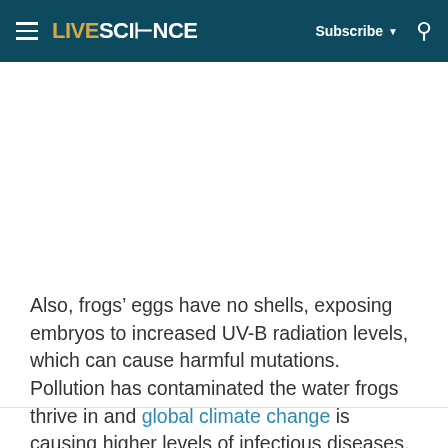LIVESCIENCE | Subscribe | Search
Also, frogs' eggs have no shells, exposing embryos to increased UV-B radiation levels, which can cause harmful mutations. Pollution has contaminated the water frogs thrive in and global climate change is causing higher levels of infectious diseases.